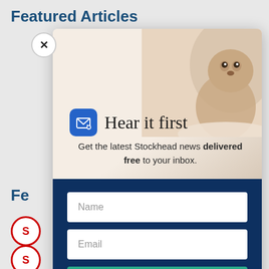Featured Articles
[Figure (screenshot): Newsletter signup modal popup overlay on a website. Contains a groundhog/marmot photo background, mail icon, headline 'Hear it first', subtitle about Stockhead news, name field, email field, and SIGN ME UP button.]
Hear it first
Get the latest Stockhead news delivered free to your inbox.
Name
Email
SIGN ME UP
Fe